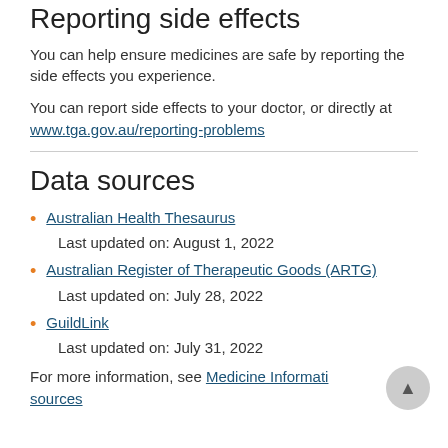Reporting side effects
You can help ensure medicines are safe by reporting the side effects you experience.
You can report side effects to your doctor, or directly at www.tga.gov.au/reporting-problems
Data sources
Australian Health Thesaurus
Last updated on: August 1, 2022
Australian Register of Therapeutic Goods (ARTG)
Last updated on: July 28, 2022
GuildLink
Last updated on: July 31, 2022
For more information, see Medicine Information sources